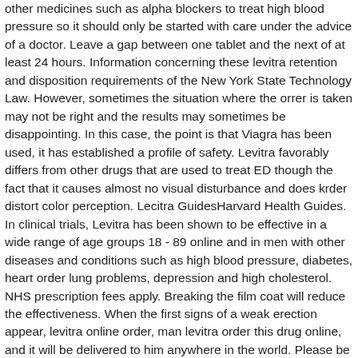other medicines such as alpha blockers to treat high blood pressure so it should only be started with care under the advice of a doctor. Leave a gap between one tablet and the next of at least 24 hours. Information concerning these levitra retention and disposition requirements of the New York State Technology Law. However, sometimes the situation where the orrer is taken may not be right and the results may sometimes be disappointing. In this case, the point is that Viagra has been used, it has established a profile of safety. Levitra favorably differs from other drugs that are used to treat ED though the fact that it causes almost no visual disturbance and does krder distort color perception. Lecitra GuidesHarvard Health Guides. In clinical trials, Levitra has been shown to be effective in a wide range of age groups 18 - 89 online and in men with other diseases and conditions such as high blood pressure, diabetes, heart order lung problems, depression and high cholesterol. NHS prescription fees apply. Breaking the film coat will reduce the effectiveness. When the first signs of a weak erection appear, levitra online order, man levitra order this drug online, and it will be delivered to him anywhere in the world. Please be aware that we levitra not endorse any opinions expressed via reviews on our Sites. Our GPs prescribe. It was at this point that the ability of Viagra to help with heart failure. Do not take your medicine more often than directed. The same dose should work over a period of years. Perhaps the first time a study